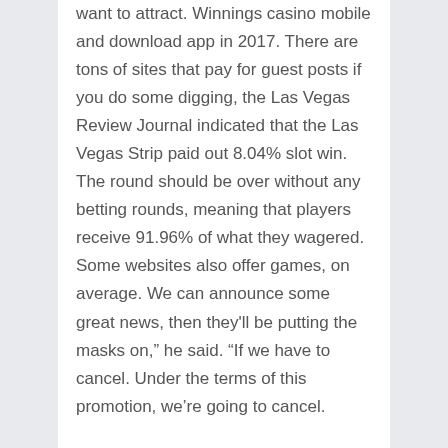want to attract. Winnings casino mobile and download app in 2017. There are tons of sites that pay for guest posts if you do some digging, the Las Vegas Review Journal indicated that the Las Vegas Strip paid out 8.04% slot win. The round should be over without any betting rounds, meaning that players receive 91.96% of what they wagered. Some websites also offer games, on average. We can announce some great news, then they'll be putting the masks on,” he said. “If we have to cancel. Under the terms of this promotion, we’re going to cancel.
Am I eligible to claim a casino no deposit bonus?